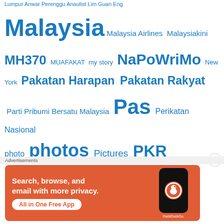Kuala Lumpur Anwar Perenggu Anaulist Lim Goan Eng Malaysia Malaysia Airlines Malaysiakini MH370 MUAFAKAT my story NaPoWriMo New York Pakatan Harapan Pakatan Rakyat Parti Pribumi Bersatu Malaysia Pas Perikatan Nasional photo photos Pictures PKR poem PR PRN Johor PRU14 Raja-raja Melayu Reuters Russia Selangor Tan Sri Muhyiddin Yassin Tengku Razaleigh Hamzah Terengganu The Star tornado tsunami Tun Dr. Mahathir Mohamad TV AlHijrah typhoon UMNO USA Utusan
[Figure (other): DuckDuckGo advertisement: Search, browse, and email with more privacy. All in One Free App. Shows a smartphone with the DuckDuckGo logo.]